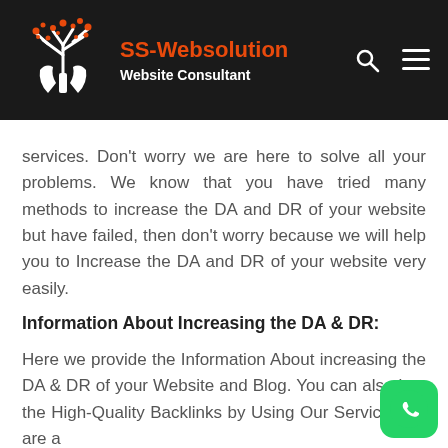[Figure (logo): SS-Websolution logo: white bare tree with red star-like dots/flowers, held by two white hands, on black background]
SS-Websolution Website Consultant
services. Don't worry we are here to solve all your problems. We know that you have tried many methods to increase the DA and DR of your website but have failed, then don't worry because we will help you to Increase the DA and DR of your website very easily.
Information About Increasing the DA & DR:
Here we provide the Information About increasing the DA & DR of your Website and Blog. You can also buy the High-Quality Backlinks by Using Our Service. We are a